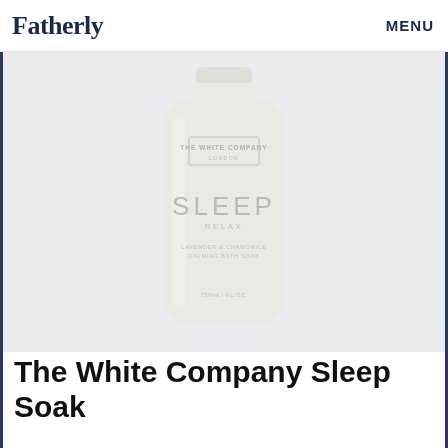Fatherly   MENU
[Figure (photo): A pale greenish-white plastic bottle of The White Company Sleep Soak bath product, labeled with 'SLEEP RELAX', 'LAVENDER & CHAMOMILE CALMING BATH SOAK', on a light gray background.]
The White Company Sleep Soak